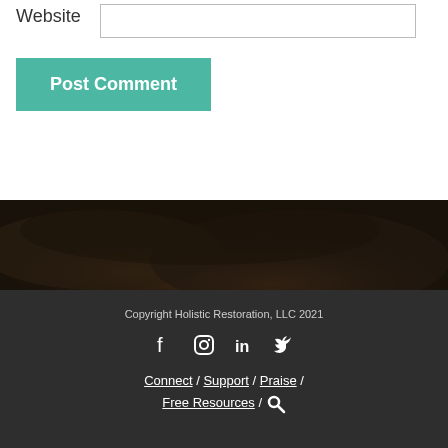Website
Post Comment
[Figure (photo): Dark moody sky/clouds background photo used as decorative header image]
Copyright Holistic Restoration, LLC 2021
Social media icons: Facebook, Instagram, LinkedIn, Twitter
Connect / Support / Praise / Free Resources / [Search icon]